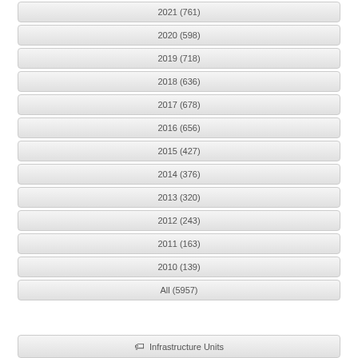2021 (761)
2020 (598)
2019 (718)
2018 (636)
2017 (678)
2016 (656)
2015 (427)
2014 (376)
2013 (320)
2012 (243)
2011 (163)
2010 (139)
All (5957)
Infrastructure Units